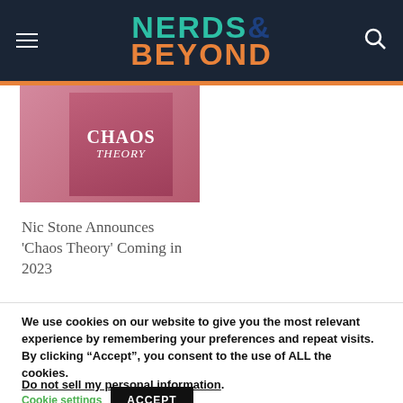NERDS& BEYOND
[Figure (photo): Book cover of 'Chaos Theory' shown against a pink/mauve background]
Nic Stone Announces 'Chaos Theory' Coming in 2023
We use cookies on our website to give you the most relevant experience by remembering your preferences and repeat visits. By clicking “Accept”, you consent to the use of ALL the cookies.
Do not sell my personal information.
Cookie settings   ACCEPT